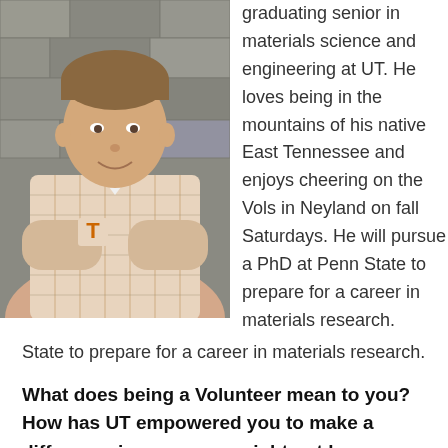[Figure (photo): Young man with short brown hair wearing a plaid shirt with a UT Tennessee logo, arms crossed, standing in front of a stone wall background.]
graduating senior in materials science and engineering at UT. He loves being in the mountains of his native East Tennessee and enjoys cheering on the Vols in Neyland on fall Saturdays. He will pursue a PhD at Penn State to prepare for a career in materials research.
What does being a Volunteer mean to you? How has UT empowered you to make a difference in a way you might not have imagined elsewhere?
Being a Volunteer means using the talents, opportunities,